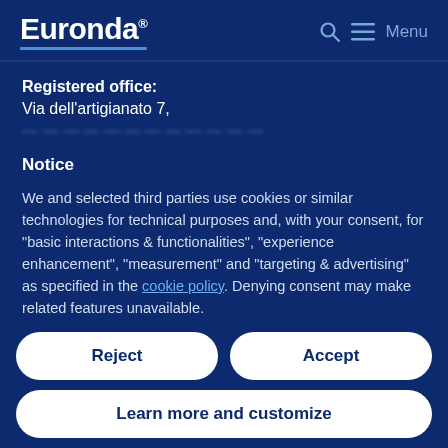Euronda® — Menu
Registered office:
Via dell'artigianato 7,
Notice
We and selected third parties use cookies or similar technologies for technical purposes and, with your consent, for "basic interactions & functionalities", "experience enhancement", "measurement" and "targeting & advertising" as specified in the cookie policy. Denying consent may make related features unavailable.
Reject
Accept
Learn more and customize